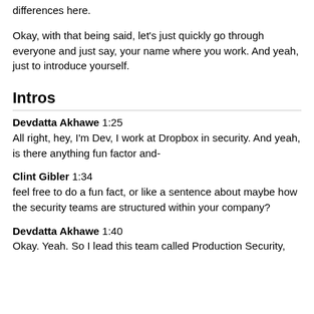differences here.
Okay, with that being said, let's just quickly go through everyone and just say, your name where you work. And yeah, just to introduce yourself.
Intros
Devdatta Akhawe 1:25
All right, hey, I'm Dev, I work at Dropbox in security. And yeah, is there anything fun factor and-
Clint Gibler 1:34
feel free to do a fun fact, or like a sentence about maybe how the security teams are structured within your company?
Devdatta Akhawe 1:40
Okay. Yeah. So I lead this team called Production Security,